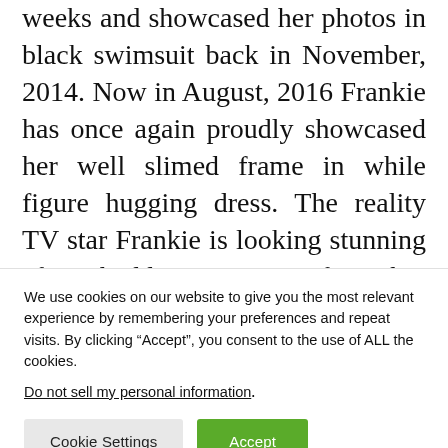weeks and showcased her photos in black swimsuit back in November, 2014. Now in August, 2016 Frankie has once again proudly showcased her well slimed frame in while figure hugging dress. The reality TV star Frankie is looking stunning after shedding 2 stones from her over weight body and she also acclaimed that she is not stopped here, her struggle is actually for maintaining a
We use cookies on our website to give you the most relevant experience by remembering your preferences and repeat visits. By clicking “Accept”, you consent to the use of ALL the cookies.
Do not sell my personal information.